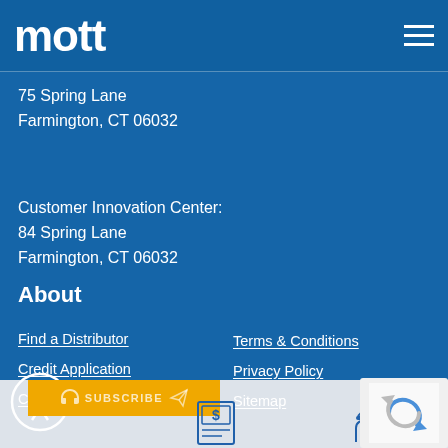mott
75 Spring Lane
Farmington, CT 06032
Customer Innovation Center:
84 Spring Lane
Farmington, CT 06032
About
Find a Distributor
Terms & Conditions
Credit Application
Privacy Policy
Careers
Sitemap
[Figure (infographic): Accessibility icon (person in circle), Subscribe button with headset icon, credit application icon with dollar sign, worker/engineer icon at bottom]
[Figure (other): reCAPTCHA verification box in bottom right corner]